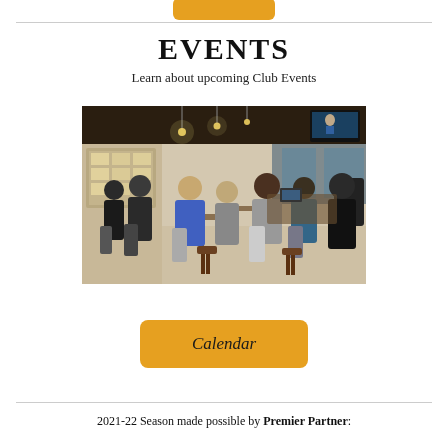EVENTS
Learn about upcoming Club Events
[Figure (photo): Indoor venue/clubroom scene with multiple people standing and sitting at high tables, pendant lights hanging from ceiling, a TV screen on the wall, and bar/service area in background.]
Calendar
2021-22 Season made possible by Premier Partner: